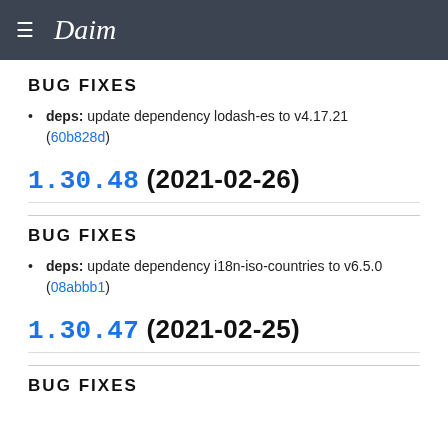Daim
BUG FIXES
deps: update dependency lodash-es to v4.17.21 (60b828d)
1.30.48 (2021-02-26)
BUG FIXES
deps: update dependency i18n-iso-countries to v6.5.0 (08abbb1)
1.30.47 (2021-02-25)
BUG FIXES